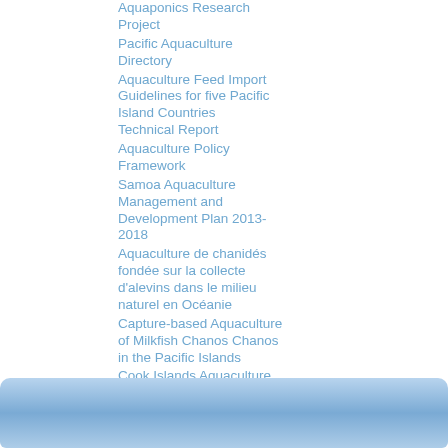Aquaponics Research Project
Pacific Aquaculture Directory
Aquaculture Feed Import Guidelines for five Pacific Island Countries Technical Report
Aquaculture Policy Framework
Samoa Aquaculture Management and Development Plan 2013-2018
Aquaculture de chanidés fondée sur la collecte d'alevins dans le milieu naturel en Océanie
Capture-based Aquaculture of Milkfish Chanos Chanos in the Pacific Islands
Cook Islands Aquaculture Development Plan – 2012-2016
[Figure (other): Decorative blue gradient footer bar at bottom of page]